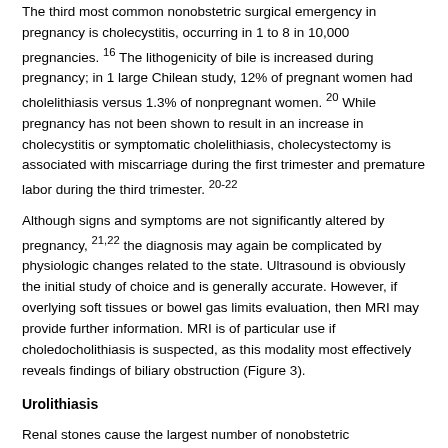The third most common nonobstetric surgical emergency in pregnancy is cholecystitis, occurring in 1 to 8 in 10,000 pregnancies. 16 The lithogenicity of bile is increased during pregnancy; in 1 large Chilean study, 12% of pregnant women had cholelithiasis versus 1.3% of nonpregnant women. 20 While pregnancy has not been shown to result in an increase in cholecystitis or symptomatic cholelithiasis, cholecystectomy is associated with miscarriage during the first trimester and premature labor during the third trimester. 20-22
Although signs and symptoms are not significantly altered by pregnancy, 21,22 the diagnosis may again be complicated by physiologic changes related to the state. Ultrasound is obviously the initial study of choice and is generally accurate. However, if overlying soft tissues or bowel gas limits evaluation, then MRI may provide further information. MRI is of particular use if choledocholithiasis is suspected, as this modality most effectively reveals findings of biliary obstruction (Figure 3).
Urolithiasis
Renal stones cause the largest number of nonobstetric hospitalizations during pregnancy, 16 with most patients presenting late in gestation. Diagnosis may be complicated by "normal" dilatation of the renal collecting system, which results from ureteral compression by the enlarged uterus and a progesterone-induced decrease in smooth muscle tone within the urinary tract. "Physiologic"